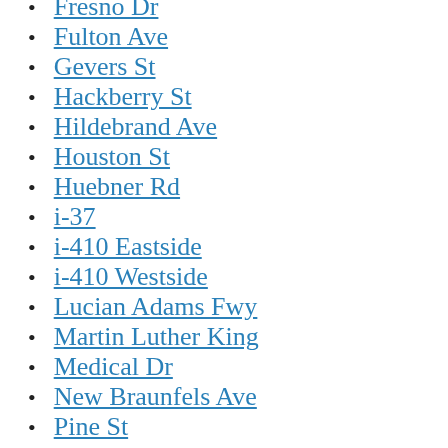Fresno Dr
Fulton Ave
Gevers St
Hackberry St
Hildebrand Ave
Houston St
Huebner Rd
i-37
i-410 Eastside
i-410 Westside
Lucian Adams Fwy
Martin Luther King
Medical Dr
New Braunfels Ave
Pine St
Poplar St
Press St